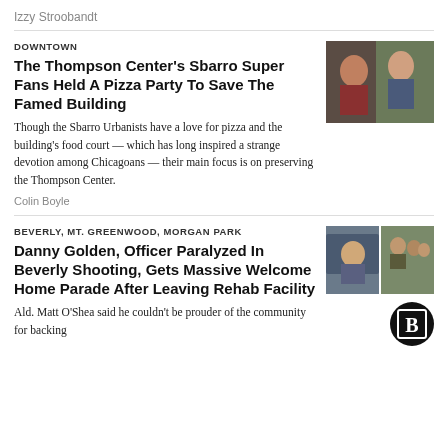Izzy Stroobandt
DOWNTOWN
The Thompson Center's Sbarro Super Fans Held A Pizza Party To Save The Famed Building
Though the Sbarro Urbanists have a love for pizza and the building's food court — which has long inspired a strange devotion among Chicagoans — their main focus is on preserving the Thompson Center.
Colin Boyle
[Figure (photo): Photo of people at an event, two individuals visible]
BEVERLY, MT. GREENWOOD, MORGAN PARK
Danny Golden, Officer Paralyzed In Beverly Shooting, Gets Massive Welcome Home Parade After Leaving Rehab Facility
Ald. Matt O'Shea said he couldn't be prouder of the community for backing
[Figure (photo): Two-panel photo: left shows a man in a vehicle, right shows a crowd outdoors]
[Figure (logo): Block Club Chicago logo — circular black badge with B]